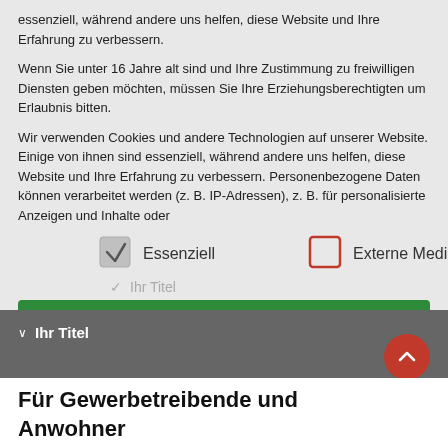essenziell, während andere uns helfen, diese Website und Ihre Erfahrung zu verbessern.
Wenn Sie unter 16 Jahre alt sind und Ihre Zustimmung zu freiwilligen Diensten geben möchten, müssen Sie Ihre Erziehungsberechtigten um Erlaubnis bitten.
Wir verwenden Cookies und andere Technologien auf unserer Website. Einige von ihnen sind essenziell, während andere uns helfen, diese Website und Ihre Erfahrung zu verbessern. Personenbezogene Daten können verarbeitet werden (z. B. IP-Adressen), z. B. für personalisierte Anzeigen und Inhalte oder
[Figure (screenshot): Cookie consent dialog with checkboxes: checked 'Essenziell' and unchecked 'Externe Medien', a green accept button, and overlaid UI elements including 'Ihr Titel' dropdown items]
Für Gewerbetreibende und Anwohner